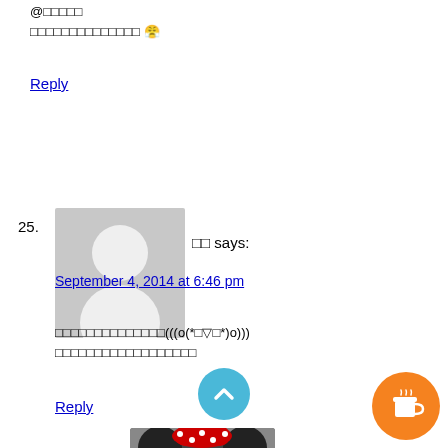@□□□□□
□□□□□□□□□□□□□□ 😤
Reply
25. □□ says:
September 4, 2014 at 6:46 pm
□□□□□□□□□□□□□□(((o(*□▽□*)o)))
□□□□□□□□□□□□□□□□□□
Reply
1. Maggie says:
September 4, 2014 at 8:17 pm
@□□
□□□□□□□□□□□□□□□□□□□□□□□□□□□□□□
□□□□□□□□□□□
→ □□□□□□□□□